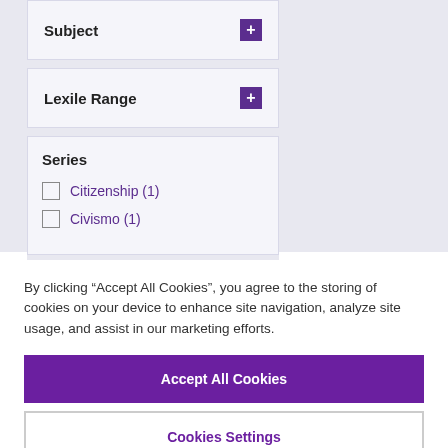Subject
Lexile Range
Series
Citizenship (1)
Civismo (1)
Set Type
By clicking “Accept All Cookies”, you agree to the storing of cookies on your device to enhance site navigation, analyze site usage, and assist in our marketing efforts.
Accept All Cookies
Cookies Settings